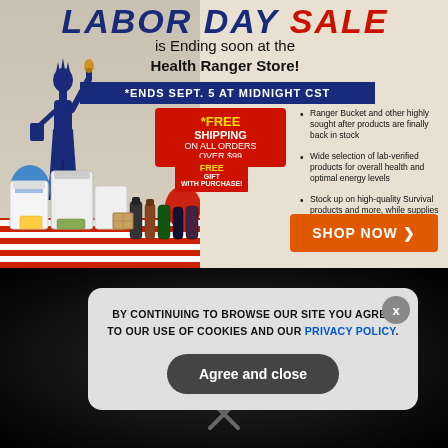[Figure (infographic): Labor Day Sale advertisement for Health Ranger Store showing Statue of Liberty, patriotic decorations, products, and bullet points about free shipping and product availability. Ends Sept. 5 at Midnight CST.]
GET THE WORLD'S BEST NATURAL HEALTH NEWSLETTER DELIVERED STRAIGHT TO YOUR INBOX
Enter Your Email Address
SUBSCRIBE
BY CONTINUING TO BROWSE OUR SITE YOU AGREE TO OUR USE OF COOKIES AND OUR PRIVACY POLICY.
Agree and close